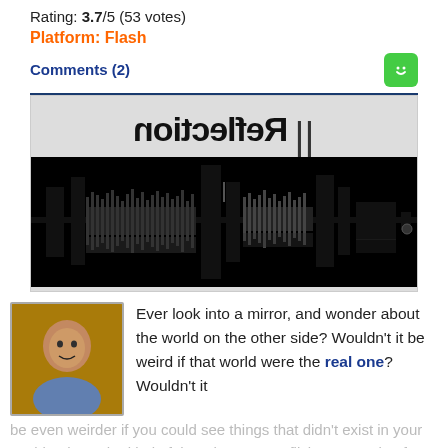Rating: 3.7/5 (53 votes)
Platform: Flash
Comments (2)
[Figure (screenshot): Game screenshot showing mirrored 'Reflection' title text and a waveform/audio bar graphic on dark background]
Ever look into a mirror, and wonder about the world on the other side? Wouldn't it be weird if that world were the real one? Wouldn't it be even weirder if you could see things that didn't exist in your world? That's the kind of thought J-Horror flicks are made of. But it's also the stuff of a—itself D...